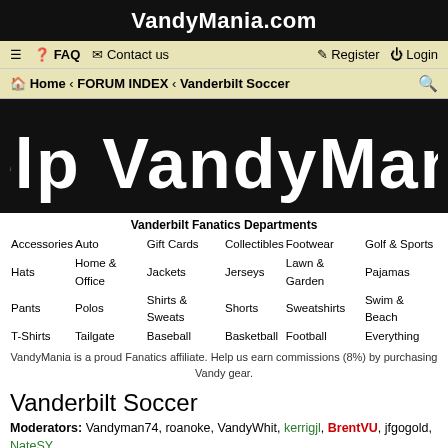VandyMania.com
≡  FAQ  Contact us    Register  Login
Home › FORUM INDEX › Vanderbilt Soccer
[Figure (illustration): Black banner with large white bold text reading 'Help VandyMania']
Vanderbilt Fanatics Departments
Accessories Auto Gift Cards Collectibles Footwear Golf & Sports
Hats Home & Office Jackets Jerseys Lawn & Garden Pajamas
Pants Polos Shirts & Sweats Shorts Sweatshirts Swim & Beach
T-Shirts Tailgate Baseball Basketball Football Everything
VandyMania is a proud Fanatics affiliate. Help us earn commissions (8%) by purchasing Vandy gear.
Vanderbilt Soccer
Moderators: Vandyman74, roanoke, VandyWhit, kerrigjl, BrentVU, jfgogold, NateSY, KarenYates
Forum rules
New Topic   Search this forum...
109 topics  1  2  3  4  5  6  >